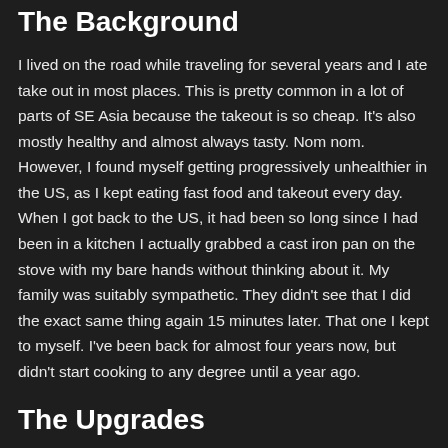The Background
I lived on the road while traveling for several years and I ate take out in most places. This is pretty common in a lot of parts of SE Asia because the takeout is so cheap. It’s also mostly healthy and almost always tasty. Nom nom. However, I found myself getting progressively unhealthier in the US, as I kept eating fast food and takeout every day. When I got back to the US, it had been so long since I had been in a kitchen I actually grabbed a cast iron pan on the stove with my bare hands without thinking about it. My family was suitably sympathetic. They didn't see that I did the exact same thing again 15 minutes later. That one I kept to myself. I’ve been back for almost four years now, but didn't start cooking to any degree until a year ago.
The Upgrades